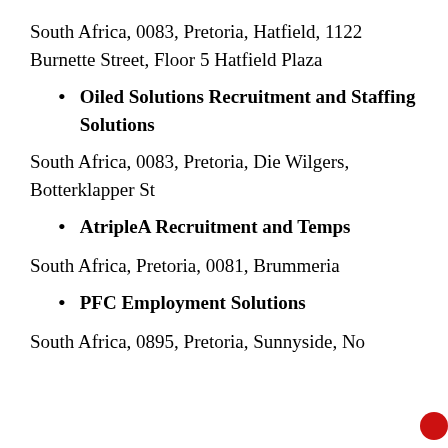South Africa, 0083, Pretoria, Hatfield, 1122 Burnette Street, Floor 5 Hatfield Plaza
Oiled Solutions Recruitment and Staffing Solutions
South Africa, 0083, Pretoria, Die Wilgers, Botterklapper St
AtripleA Recruitment and Temps
South Africa, Pretoria, 0081, Brummeria
PFC Employment Solutions
South Africa, 0895, Pretoria, Sunnyside, No